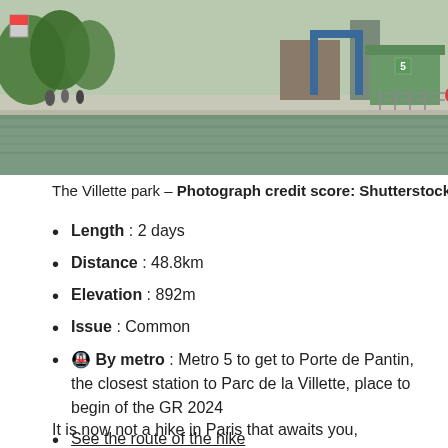[Figure (photo): Photo of Villette park showing a waterway/canal with people on a walkway, trees, a blue bridge or gate structure, and a green building in the background]
The Villette park – Photograph credit score: Shutterstock
Length : 2 days
Distance : 48.8km
Elevation : 892m
Issue : Common
🚇 By metro : Metro 5 to get to Porte de Pantin, the closest station to Parc de la Villette, place to begin of the GR 2024
See the route of the hike
It is now not a hike in Paris that awaits you,